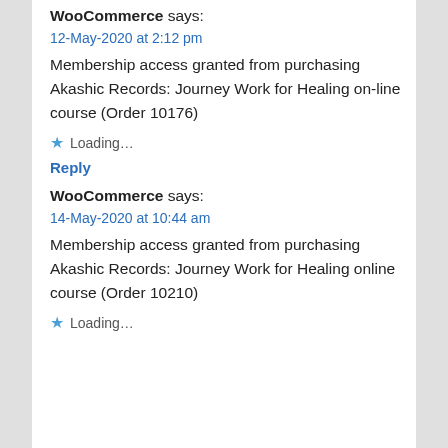WooCommerce says:
12-May-2020 at 2:12 pm
Membership access granted from purchasing Akashic Records: Journey Work for Healing on-line course (Order 10176)
★ Loading...
Reply
WooCommerce says:
14-May-2020 at 10:44 am
Membership access granted from purchasing Akashic Records: Journey Work for Healing online course (Order 10210)
★ Loading...